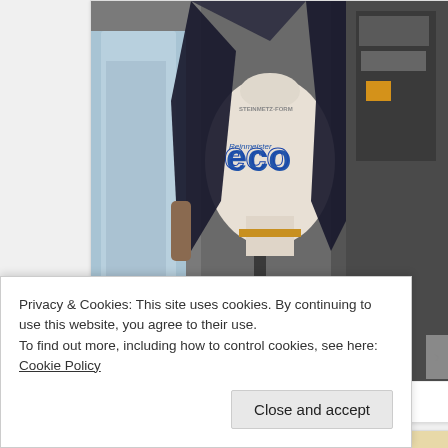[Figure (photo): A dressmaker's mannequin/dress form with a navy jacket draped open, showing a white form with blue Steinmetz logo. A person in light blue clothing is visible to the left, and sewing equipment is visible in the background.]
Jaybee’s Work
[Figure (photo): Partial view of a second image showing the top of what appears to be another dress form or mannequin against a warm beige/cream background.]
Privacy & Cookies: This site uses cookies. By continuing to use this website, you agree to their use.
To find out more, including how to control cookies, see here: Cookie Policy